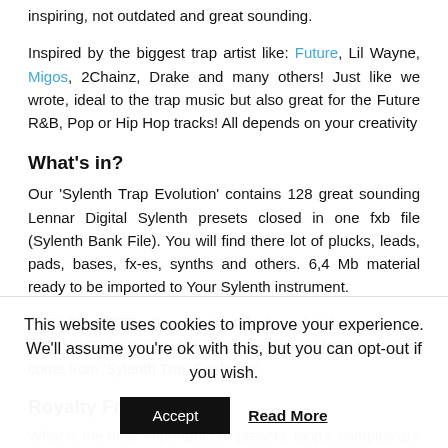inspiring, not outdated and great sounding.
Inspired by the biggest trap artist like: Future, Lil Wayne, Migos, 2Chainz, Drake and many others! Just like we wrote, ideal to the trap music but also great for the Future R&B, Pop or Hip Hop tracks! All depends on your creativity
What's in?
Our 'Sylenth Trap Evolution' contains 128 great sounding Lennar Digital Sylenth presets closed in one fxb file (Sylenth Bank File). You will find there lot of plucks, leads, pads, bases, fx-es, synths and others. 6,4 Mb material ready to be imported to Your Sylenth instrument.
PLEASE NOTE: Snare, short kick and Hihats are not INCLUDED in this pack, rest of the sounds from the demo come from 'Sylenth Trap Evolution'.
Royalty Free
What is the most important our presets, loops, samples are licensed to
This website uses cookies to improve your experience. We'll assume you're ok with this, but you can opt-out if you wish.
Accept   Read More